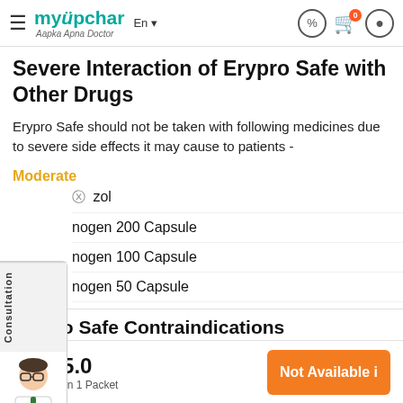myUpchar | Aapka Apna Doctor | En | (icons)
Severe Interaction of Erypro Safe with Other Drugs
Erypro Safe should not be taken with following medicines due to severe side effects it may cause to patients -
Moderate
zol
nogen 200 Capsule
nogen 100 Capsule
nogen 50 Capsule
nogen 100 Tablet
Erypro Safe Contraindications
₹2995.0
1 Injection in 1 Packet
Not Available i